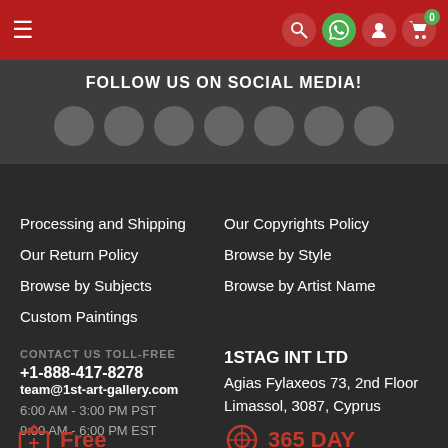Navigation bar with hamburger menu, search, WhatsApp, account and cart icons
FOLLOW US ON SOCIAL MEDIA!
[Figure (illustration): Seven gray social media icon circles]
Processing and Shipping
Our Return Policy
Browse by Subjects
Custom Paintings
Our Copyrights Policy
Browse by Style
Browse by Artist Name
CONTACT US TOLL-FREE
+1-888-417-8278
team@1st-art-gallery.com
6:00 AM - 3:00 PM PST
9:00 AM - 6:00 PM EST
1STAG INT LTD
Agias Fylaxeos 73, 2nd Floor
Limassol, 3087, Cyprus
Free
365 DAY